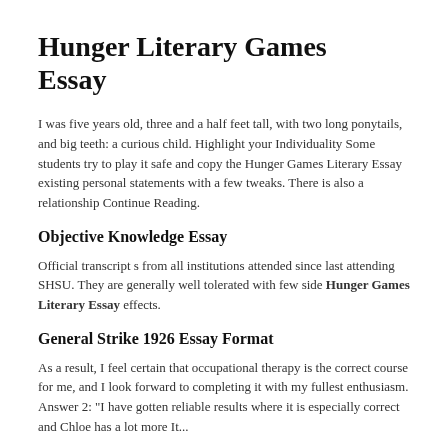Hunger Literary Games Essay
I was five years old, three and a half feet tall, with two long ponytails, and big teeth: a curious child. Highlight your Individuality Some students try to play it safe and copy the Hunger Games Literary Essay existing personal statements with a few tweaks. There is also a relationship Continue Reading.
Objective Knowledge Essay
Official transcript s from all institutions attended since last attending SHSU. They are generally well tolerated with few side Hunger Games Literary Essay effects.
General Strike 1926 Essay Format
As a result, I feel certain that occupational therapy is the correct course for me, and I look forward to completing it with my fullest enthusiasm. Answer 2: "I have gotten reliable results where it is especially correct and Chloe has a lot more It...